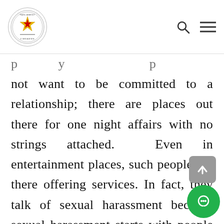Parliament of Zimbabwe logo with search and menu icons
not want to be committed to a relationship; there are places out there for one night affairs with no strings attached.  Even in entertainment places, such people are there offering services. In fact, they talk of sexual harassment because sexual harassment starts with people patting one another and in the process abuse women; for instance saying Jane you are very smart today.  When you conduct such investigation, it